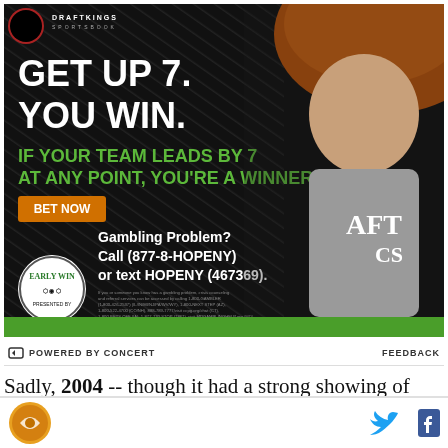[Figure (infographic): DraftKings Sportsbook advertisement featuring Kevin Hart. Black background with diagonal stripe pattern. Text reads: GET UP 7. YOU WIN. IF YOUR TEAM LEADS BY 7 AT ANY POINT, YOU'RE A WINNER. BET NOW button in orange. Early Win logo bottom left. Gambling Problem? Call (877-8-HOPENY) or text HOPENY (467369). Green bottom bar. Person (Kevin Hart) photo on right side.]
POWERED BY CONCERT   FEEDBACK
Sadly, 2004 -- though it had a strong showing of 100-